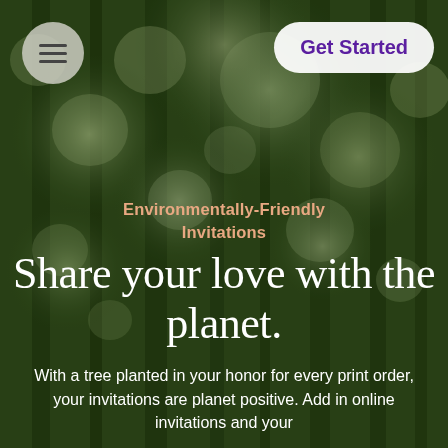[Figure (photo): Blurred bokeh forest background with tall green trees, viewed from below looking upward, with dappled light coming through the canopy. Dark green overlay tint.]
Get Started
Environmentally-Friendly Invitations
Share your love with the planet.
With a tree planted in your honor for every print order, your invitations are planet positive. Add in online invitations and your